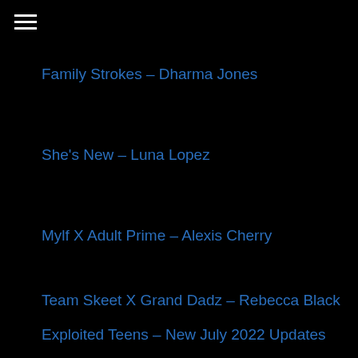Family Strokes – Dharma Jones
She's New – Luna Lopez
Mylf X Adult Prime – Alexis Cherry
Team Skeet X Grand Dadz – Rebecca Black
Exploited Teens – New July 2022 Updates